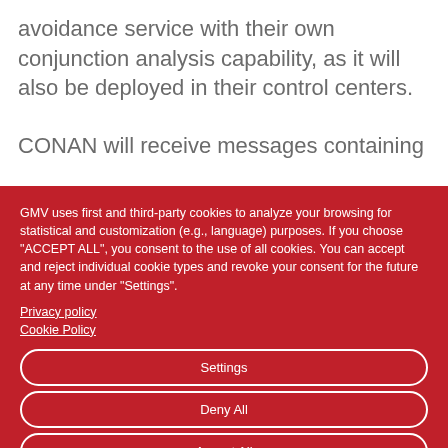avoidance service with their own conjunction analysis capability, as it will also be deployed in their control centers.
CONAN will receive messages containing
GMV uses first and third-party cookies to analyze your browsing for statistical and customization (e.g., language) purposes. If you choose "ACCEPT ALL", you consent to the use of all cookies. You can accept and reject individual cookie types and revoke your consent for the future at any time under "Settings".
Privacy policy
Cookie Policy
Settings
Deny All
Accept All